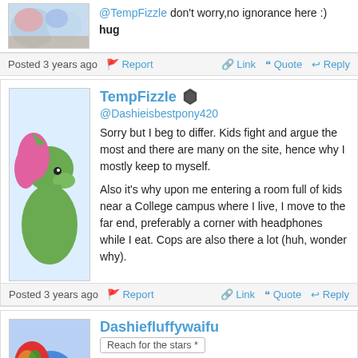[Figure (illustration): Partial avatar image at top, cropped pony characters]
@TempFizzle don't worry,no ignorance here :) hug
Posted 3 years ago   Report   Link   Quote   Reply
[Figure (illustration): TempFizzle avatar: green pony silhouette with pink mane on light blue background]
TempFizzle
@Dashieisbestpony420
Sorry but I beg to differ. Kids fight and argue the most and there are many on the site, hence why I mostly keep to myself.

Also it’s why upon me entering a room full of kids near a College campus where I live, I move to the far end, preferably a corner with headphones while I eat. Cops are also there a lot (huh, wonder why).
Posted 3 years ago   Report   Link   Quote   Reply
[Figure (illustration): Dashiefluffywaifu avatar: blue pony with rainbow hair]
Dashiefluffywaifu
Reach for the stars *
@TempFizzle
I meant this thread lol ik what you mean unless there is an argument I haven’t seen heh